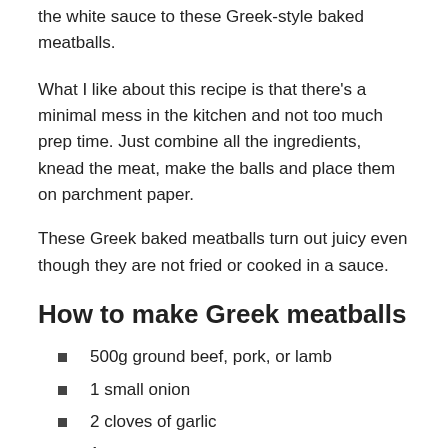the white sauce to these Greek-style baked meatballs.
What I like about this recipe is that there's a minimal mess in the kitchen and not too much prep time. Just combine all the ingredients, knead the meat, make the balls and place them on parchment paper.
These Greek baked meatballs turn out juicy even though they are not fried or cooked in a sauce.
How to make Greek meatballs
500g ground beef, pork, or lamb
1 small onion
2 cloves of garlic
1 tsp pepper